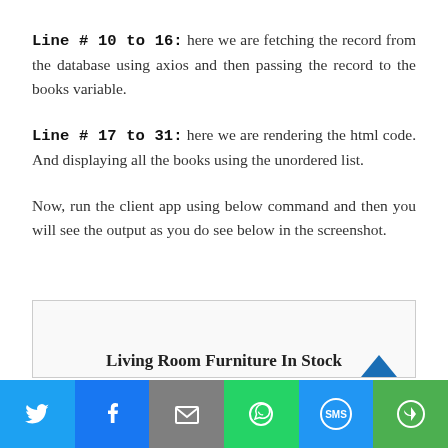Line # 10 to 16: here we are fetching the record from the database using axios and then passing the record to the books variable.
Line # 17 to 31: here we are rendering the html code. And displaying all the books using the unordered list.
Now, run the client app using below command and then you will see the output as you do see below in the screenshot.
[Figure (screenshot): Screenshot showing 'Living Room Furniture In Stock' heading, partially visible]
Social share bar with Twitter, Facebook, Email, WhatsApp, SMS, More buttons